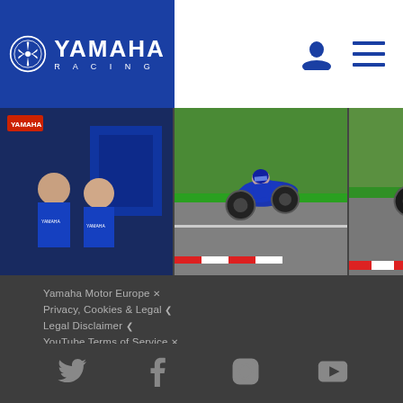[Figure (logo): Yamaha Racing logo — white Yamaha emblem and wordmark on blue background]
[Figure (photo): Four racing photos in a horizontal strip: team members in garage, motorcycle racing on track (x3)]
Yamaha Motor Europe ×
Privacy, Cookies & Legal <
Legal Disclaimer <
YouTube Terms of Service ×
[Figure (infographic): Social media icons row: Twitter, Facebook, Instagram, YouTube]